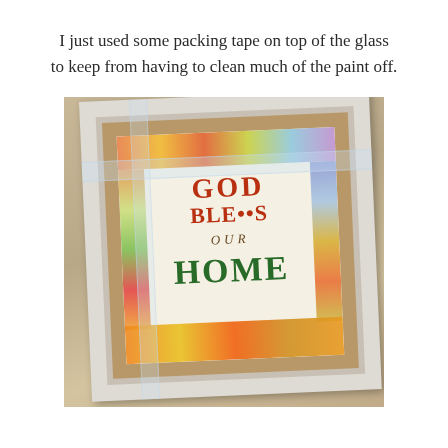I just used some packing tape on top of the glass to keep from having to clean much of the paint off.
[Figure (photo): A white picture frame with a cardboard mat inside, covered with packing tape. Inside the frame is a floral print that reads 'GOD BLESSES OUR HOME' with colorful flower borders.]